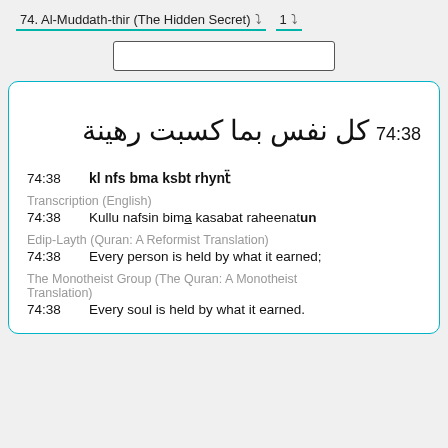74. Al-Muddath-thir (The Hidden Secret) ▾  1  ▾
74:38 كل نفس بما كسبت رهينة
74:38  kl nfs bma ksbt rhynẗ
Transcription (English)
74:38  Kullu nafsin bima kasabat raheenatun
Edip-Layth (Quran: A Reformist Translation)
74:38  Every person is held by what it earned;
The Monotheist Group (The Quran: A Monotheist Translation)
74:38  Every soul is held by what it earned.